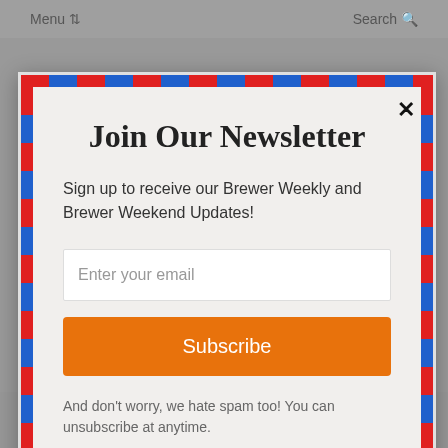Menu   Search
Join Our Newsletter
Sign up to receive our Brewer Weekly and Brewer Weekend Updates!
Enter your email
Subscribe
And don't worry, we hate spam too! You can unsubscribe at anytime.
About Us  Advertising  Brewer Guide  Support Tri-bune  Careers  The Brewer Advantage  powered by MailMunch